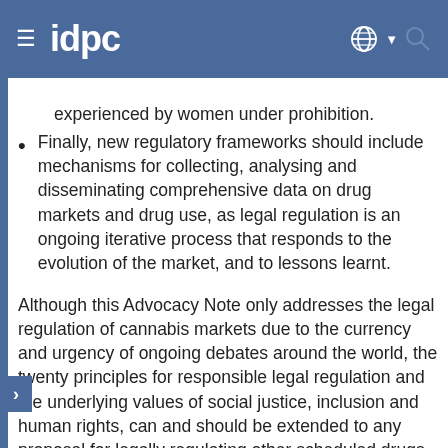IDPC
experienced by women under prohibition.
Finally, new regulatory frameworks should include mechanisms for collecting, analysing and disseminating comprehensive data on drug markets and drug use, as legal regulation is an ongoing iterative process that responds to the evolution of the market, and to lessons learnt.
Although this Advocacy Note only addresses the legal regulation of cannabis markets due to the currency and urgency of ongoing debates around the world, the twenty principles for responsible legal regulation and the underlying values of social justice, inclusion and human rights, can and should be extended to any proposal for legally regulating other scheduled drugs, with the appropriate adjustments. The IDPC network looks forward to